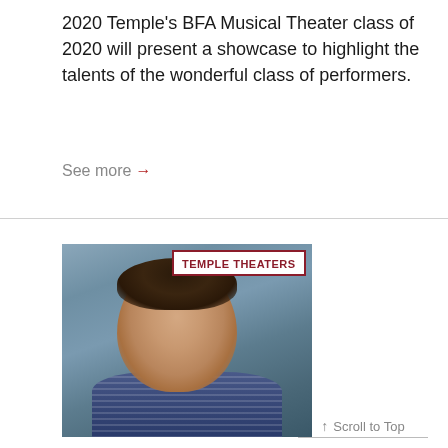2020 Temple's BFA Musical Theater class of 2020 will present a showcase to highlight the talents of the wonderful class of performers.
See more →
[Figure (photo): Headshot of a young male performer with dark hair wearing a blue striped polo shirt, with a 'TEMPLE THEATERS' badge overlay in the top right of the photo]
↑ Scroll to Top